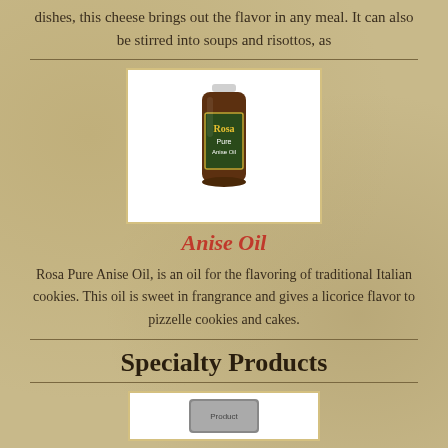dishes, this cheese brings out the flavor in any meal. It can also be stirred into soups and risottos, as
[Figure (photo): Rosa Pure Anise Oil jar product photo on white background]
Anise Oil
Rosa Pure Anise Oil, is an oil for the flavoring of traditional Italian cookies. This oil is sweet in frangrance and gives a licorice flavor to pizzelle cookies and cakes.
Specialty Products
[Figure (photo): Specialty product photo (partially visible at bottom)]